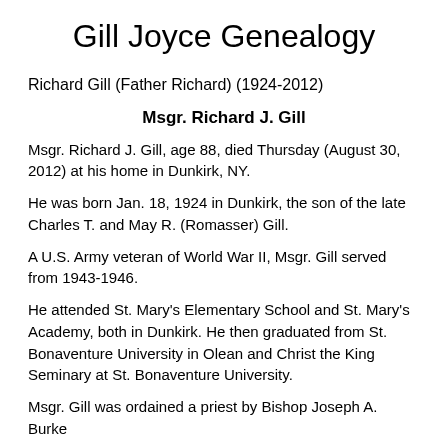Gill Joyce Genealogy
Richard Gill (Father Richard) (1924-2012)
Msgr. Richard J. Gill
Msgr. Richard J. Gill, age 88, died Thursday (August 30, 2012) at his home in Dunkirk, NY.
He was born Jan. 18, 1924 in Dunkirk, the son of the late Charles T. and May R. (Romasser) Gill.
A U.S. Army veteran of World War II, Msgr. Gill served from 1943-1946.
He attended St. Mary's Elementary School and St. Mary's Academy, both in Dunkirk. He then graduated from St. Bonaventure University in Olean and Christ the King Seminary at St. Bonaventure University.
Msgr. Gill was ordained a priest by Bishop Joseph A. Burke